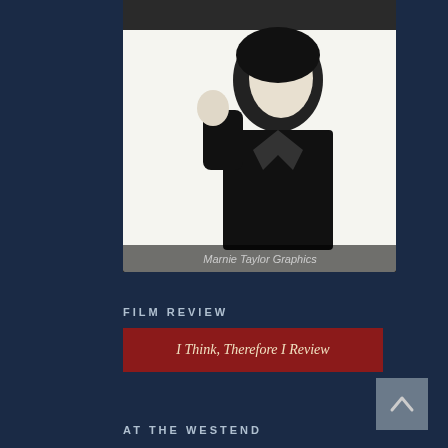[Figure (illustration): Black and white graphic illustration of a man in military-style uniform, looking downward with hand raised near face. Text reads 'Marnie Taylor Graphics' at the bottom.]
FILM REVIEW
[Figure (logo): Red banner with italic white serif text reading 'I Think, Therefore I Review']
AT THE WESTEND
[Figure (logo): Dark banner image with gold ornamental design and text 'Beauty DESIRE Kitchen AT THE WESTEND']